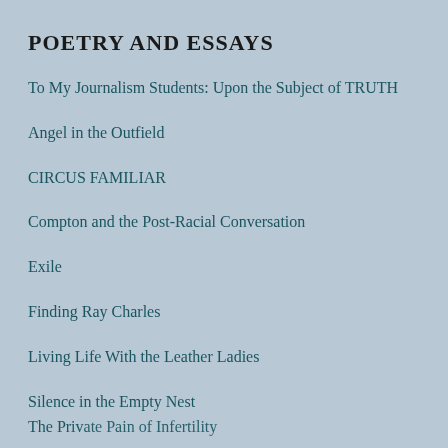POETRY AND ESSAYS
To My Journalism Students: Upon the Subject of TRUTH
Angel in the Outfield
CIRCUS FAMILIAR
Compton and the Post-Racial Conversation
Exile
Finding Ray Charles
Living Life With the Leather Ladies
Silence in the Empty Nest
The Private Pain of Infertility